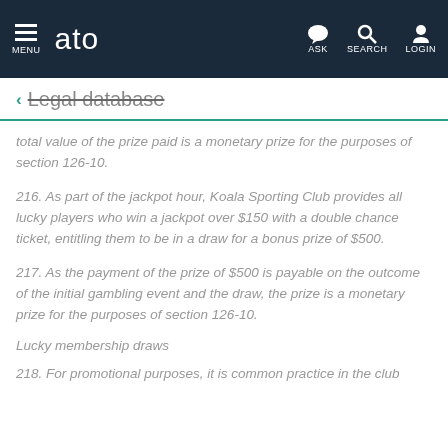MENU  ato  ASK  SEARCH  LOGIN
Legal database
total value of the prize paid is a monetary prize for the purposes of section 126-10.
216. As part of the jackpot hour, Koala Sporting Club provides all lucky players who win a jackpot over $150 with a double chance ticket, entitling them to be in a draw for a bonus prize of $500.
217. As the payment of the prize of $500 is payable on the outcome of the initial gambling event and the draw, the prize is a monetary prize for the purposes of section 126-10.
Lucky membership draws
218. For promotional purposes, it is common practice in the club